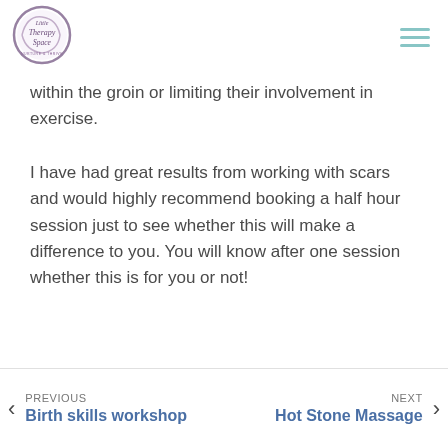[Figure (logo): Little Therapy Space logo — circular logo with purple swirl border and cursive text reading 'Little Therapy Space' with subtitle text below]
within the groin or limiting their involvement in exercise.
I have had great results from working with scars and would highly recommend booking a half hour session just to see whether this will make a difference to you. You will know after one session whether this is for you or not!
PREVIOUS Birth skills workshop | NEXT Hot Stone Massage